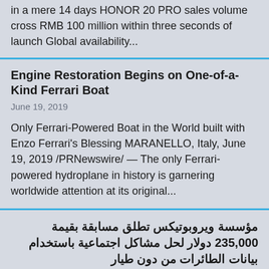in a mere 14 days HONOR 20 PRO sales volume cross RMB 100 million within three seconds of launch Global availability...
Engine Restoration Begins on One-of-a-Kind Ferrari Boat
June 19, 2019
Only Ferrari-Powered Boat in the World built with Enzo Ferrari's Blessing MARANELLO, Italy, June 19, 2019 /PRNewswire/ — The only Ferrari-powered hydroplane in history is garnering worldwide attention at its original...
مؤسسة ويروبوتيكس تطلق مسابقة بقيمة 235,000 دولار لحل مشاكل اجتماعية باستخدام بيانات الطائرات من دون طيار
June 19, 2019